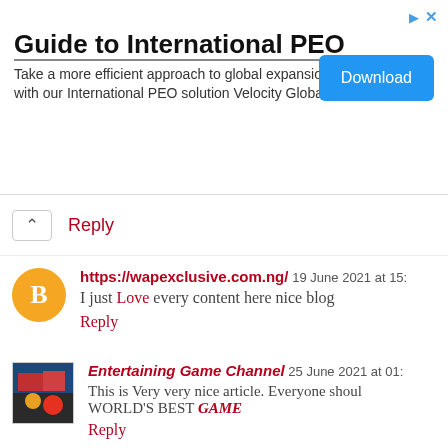[Figure (other): Advertisement banner for International PEO guide with Download button]
Reply
https://wapexclusive.com.ng/ 19 June 2021 at 15:
I just Love every content here nice blog
Reply
Entertaining Game Channel 25 June 2021 at 01:
This is Very very nice article. Everyone shoul
WORLD'S BEST GAME
Reply